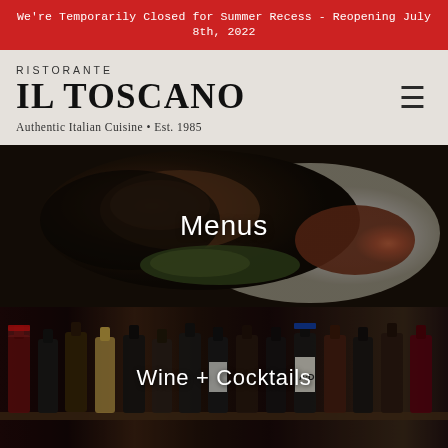We're Temporarily Closed for Summer Recess - Reopening July 8th, 2022
RISTORANTE
IL TOSCANO
Authentic Italian Cuisine • Est. 1985
[Figure (photo): Dark background photo of a grilled steak on a white plate with sauce and greens, with overlay text 'Menus']
[Figure (photo): Photo of a row of wine bottles on a dark wooden shelf, with overlay text 'Wine + Cocktails']
[Figure (photo): Partial view of pasta on a light background at the bottom of the page]